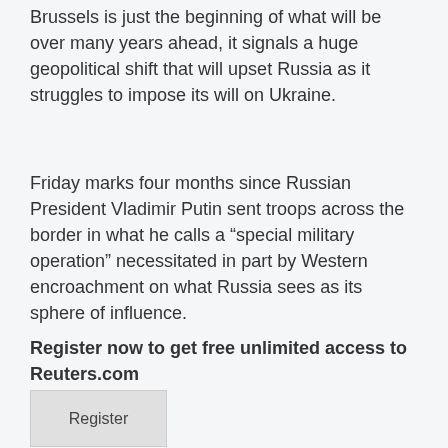Brussels is just the beginning of what will be over many years ahead, it signals a huge geopolitical shift that will upset Russia as it struggles to impose its will on Ukraine.
Friday marks four months since Russian President Vladimir Putin sent troops across the border in what he calls a “special military operation” necessitated in part by Western encroachment on what Russia sees as its sphere of influence.
Register now to get free unlimited access to Reuters.com
Register